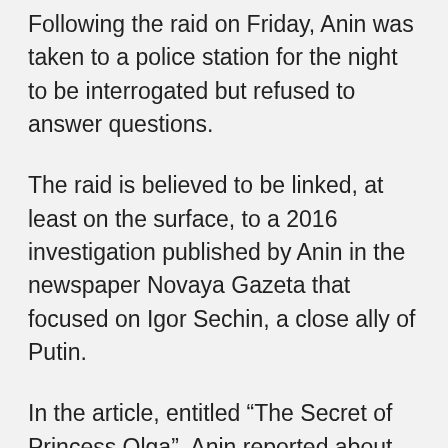Following the raid on Friday, Anin was taken to a police station for the night to be interrogated but refused to answer questions.
The raid is believed to be linked, at least on the surface, to a 2016 investigation published by Anin in the newspaper Novaya Gazeta that focused on Igor Sechin, a close ally of Putin.
In the article, entitled “The Secret of Princess Olga”, Anin reported about the wealth of Sechin’s then wife, who had allegedly been using a 100-million-dollar super yacht. After the article was published, Sechin filed a privacy violation case against the newspaper